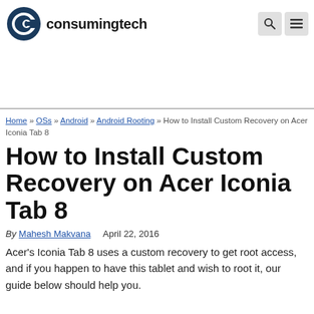consumingtech
[Figure (logo): consumingtech logo with stylized 'ct' icon in dark teal/blue and bold text 'consumingtech']
Home » OSs » Android » Android Rooting » How to Install Custom Recovery on Acer Iconia Tab 8
How to Install Custom Recovery on Acer Iconia Tab 8
By Mahesh Makvana    April 22, 2016
Acer's Iconia Tab 8 uses a custom recovery to get root access, and if you happen to have this tablet and wish to root it, our guide below should help you.